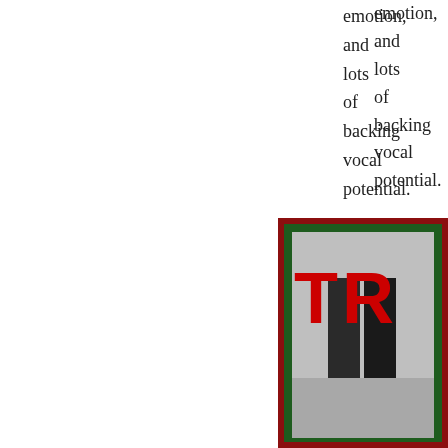emotion, and lots of backing vocal potential.
[Figure (screenshot): Red background with a white circle play button icon (video thumbnail overlay)]
[Figure (photo): Album cover or promotional image with dark green border, showing a person's lower body in black jeans and the beginning of red bold text 'TR' on a black and white background]